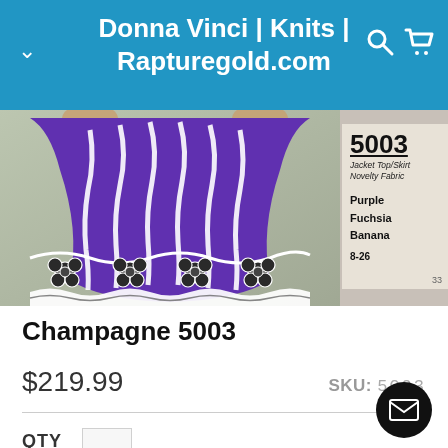Donna Vinci | Knits | Rapturegold.com
[Figure (photo): Product photo of a purple, white and black floral embroidered dress/skirt. Catalog label showing style number 5003, Jacket Top/Skirt, Novelty Fabric, colors: Purple, Fuchsia, Banana, sizes 8-26, page 33.]
Champagne 5003
$219.99
SKU: 5OO3
QTY